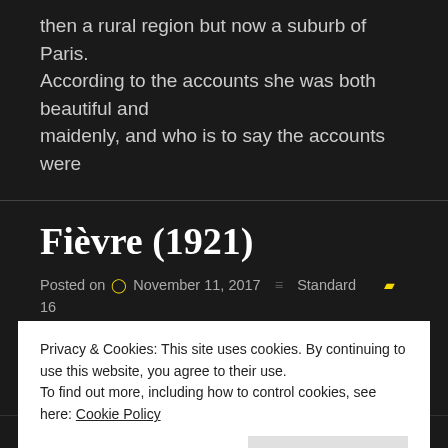then a rural region but now a suburb of Paris. According to the accounts she was both beautiful and maidenly, and who is to say the accounts were
CONTINUE READING
Fièvre (1921)
Posted on  November 11, 2017   Standard  16
France / 43 minutes / bw silent / Alhambra, Jupiter Dir
Privacy & Cookies: This site uses cookies. By continuing to use this website, you agree to their use.
To find out more, including how to control cookies, see here: Cookie Policy
Close and accept
Marcelle Delville, Barral, Varoquet, Jacqueline